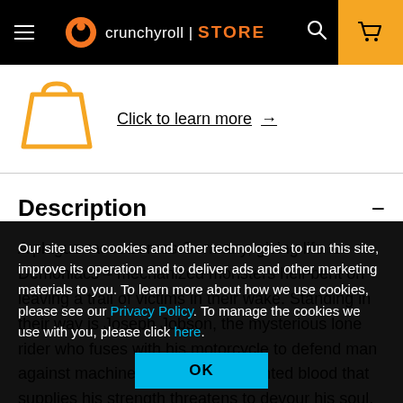☰  crunchyroll | STORE  🔍  🛒
[Figure (illustration): Orange shopping bag icon outline]
Click to learn more →
Description  −
A plague races across Germany, giving life to Demoniacs – mechanized monsters hell-bent on leaving a trail of victims in their wake. Standing in their way is Joseph Jobson, the mysterious lone rider who fuses with his motorcycle to defend man against machine. But the same tainted blood that supplies his strength threatens to devour his soul, leaving him nothing more than a murderous demon.
Our site uses cookies and other technologies to run this site, improve its operation and to deliver ads and other marketing materials to you. To learn more about how we use cookies, please see our Privacy Policy. To manage the cookies we use with you, please click here.